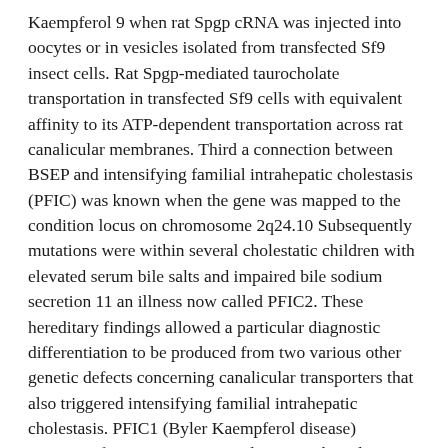Kaempferol 9 when rat Spgp cRNA was injected into oocytes or in vesicles isolated from transfected Sf9 insect cells. Rat Spgp-mediated taurocholate transportation in transfected Sf9 cells with equivalent affinity to its ATP-dependent transportation across rat canalicular membranes. Third a connection between BSEP and intensifying familial intrahepatic cholestasis (PFIC) was known when the gene was mapped to the condition locus on chromosome 2q24.10 Subsequently mutations were within several cholestatic children with elevated serum bile salts and impaired bile sodium secretion 11 an illness now called PFIC2. These hereditary findings allowed a particular diagnostic differentiation to be produced from two various other genetic defects concerning canalicular transporters that also triggered intensifying familial intrahepatic cholestasis. PFIC1 (Byler Kaempferol disease) outcomes from mutations in and PFIC3 takes place from mutations in gene are also connected with some types of intrahepatic cholestasis of being pregnant 32 33 Although FXR can be an necessary